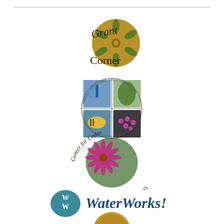[Figure (logo): Grant Corner logo with decorative circular emblem and stylized text]
[Figure (logo): University Biology Department circular logo with four quadrant images: microscope, leaf, tropical fish, molecular structure]
[Figure (logo): Center for Cedar Glade Studies logo with flower/plant image and curved text]
[Figure (logo): WaterWorks! logo with teal WW monogram circle and bold blue italic text]
[Figure (logo): Partial logo visible at bottom of page, circular golden emblem]